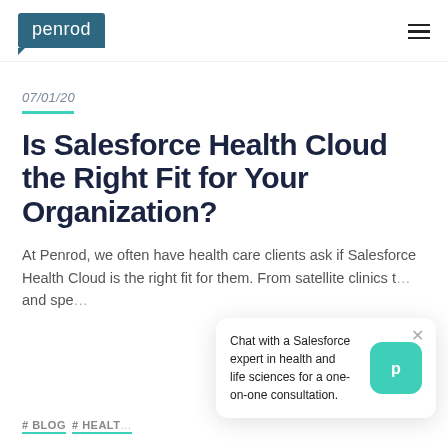penrod
07/01/20
Is Salesforce Health Cloud the Right Fit for Your Organization?
At Penrod, we often have health care clients ask if Salesforce Health Cloud is the right fit for them. From satellite clinics t… and spe…
#BLOG #HEALT…
[Figure (screenshot): Chat popup overlay: 'Chat with a Salesforce expert in health and life sciences for a one-on-one consultation.' with Penrod logo icon button and close X button.]